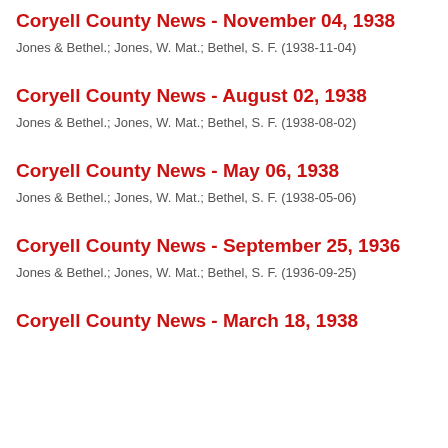Coryell County News - November 04, 1938
Jones & Bethel.; Jones, W. Mat.; Bethel, S. F. (1938-11-04)
Coryell County News - August 02, 1938
Jones & Bethel.; Jones, W. Mat.; Bethel, S. F. (1938-08-02)
Coryell County News - May 06, 1938
Jones & Bethel.; Jones, W. Mat.; Bethel, S. F. (1938-05-06)
Coryell County News - September 25, 1936
Jones & Bethel.; Jones, W. Mat.; Bethel, S. F. (1936-09-25)
Coryell County News - March 18, 1938